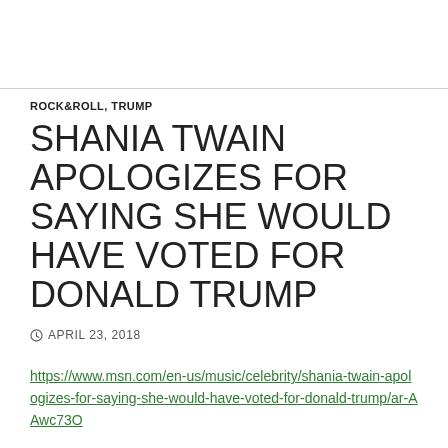ROCK&ROLL, TRUMP
SHANIA TWAIN APOLOGIZES FOR SAYING SHE WOULD HAVE VOTED FOR DONALD TRUMP
APRIL 23, 2018
https://www.msn.com/en-us/music/celebrity/shania-twain-apologizes-for-saying-she-would-have-voted-for-donald-trump/ar-AAwc73O